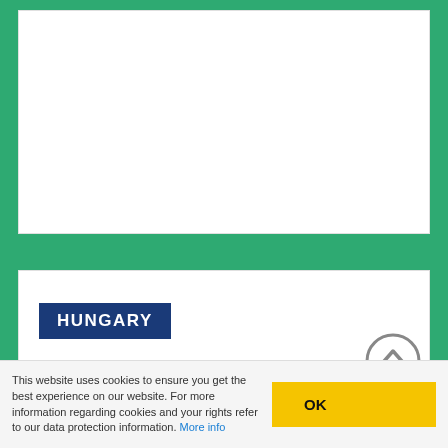[Figure (other): White card area at the top, content not visible]
HUNGARY
MOBILISSIMUS
Mobilissimus' main mission is to contribute to the
This website uses cookies to ensure you get the best experience on our website. For more information regarding cookies and your rights refer to our data protection information. More info
OK